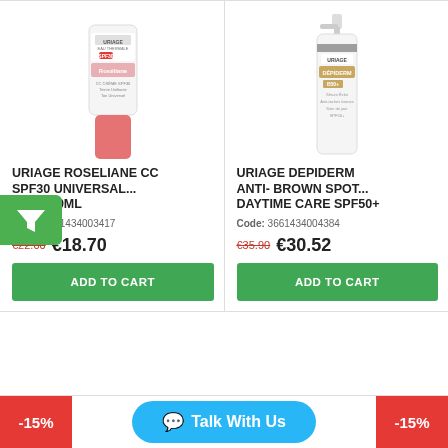[Figure (photo): Uriage Roseliane CC SPF30 Universal Tone 40ml product tube]
URIAGE ROSELIANE CC SPF30 UNIVERSAL... TONE 40ML
Code: 3661434003417
€22.00 €18.70
ADD TO CART
[Figure (photo): Uriage Depiderm Anti-Brown Spot Daytime Care SPF50+ product bottle]
URIAGE DEPIDERM ANTI- BROWN SPOT... DAYTIME CARE SPF50+
Code: 3661434004384
€35.90 €30.52
ADD TO CART
Talk With Us
-15%
-15%